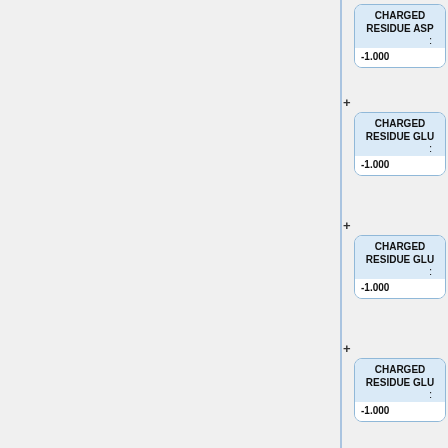[Figure (flowchart): Flowchart/diagram showing a vertical sequence of charged residue nodes connected by plus signs. Each node is a rounded rectangle with a blue-shaded header containing the residue name (CHARGED RESIDUE ASP or CHARGED RESIDUE GLU), a colon field, and a value of -1.000. Five nodes visible: ASP, GLU, GLU, GLU, ASP, connected by + operators. A vertical line on the left side connects them.]
CHARGED RESIDUE ASP : -1.000
CHARGED RESIDUE GLU : -1.000
CHARGED RESIDUE GLU : -1.000
CHARGED RESIDUE GLU : -1.000
CHARGED RESIDUE ASP : -1.000